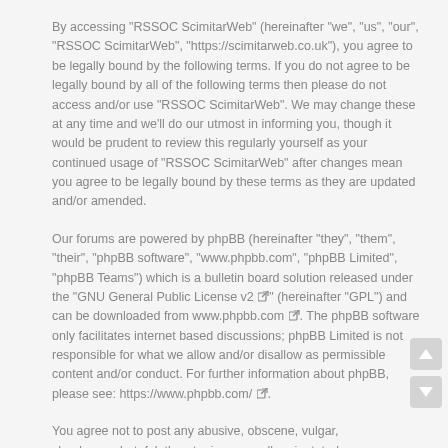By accessing "RSSOC ScimitarWeb" (hereinafter "we", "us", "our", "RSSOC ScimitarWeb", "https://scimitarweb.co.uk"), you agree to be legally bound by the following terms. If you do not agree to be legally bound by all of the following terms then please do not access and/or use "RSSOC ScimitarWeb". We may change these at any time and we'll do our utmost in informing you, though it would be prudent to review this regularly yourself as your continued usage of "RSSOC ScimitarWeb" after changes mean you agree to be legally bound by these terms as they are updated and/or amended.
Our forums are powered by phpBB (hereinafter "they", "them", "their", "phpBB software", "www.phpbb.com", "phpBB Limited", "phpBB Teams") which is a bulletin board solution released under the "GNU General Public License v2" (hereinafter "GPL") and can be downloaded from www.phpbb.com. The phpBB software only facilitates internet based discussions; phpBB Limited is not responsible for what we allow and/or disallow as permissible content and/or conduct. For further information about phpBB, please see: https://www.phpbb.com/
You agree not to post any abusive, obscene, vulgar, slanderous, hateful, threatening, sexually-orientated or any other material that may violate any laws be it of your country, the country where "RSSOC ScimitarWeb" is hosted or International Law. Doing so may lead to you being immediately and permanently banned, with notification of your Internet Service Provider if deemed required by